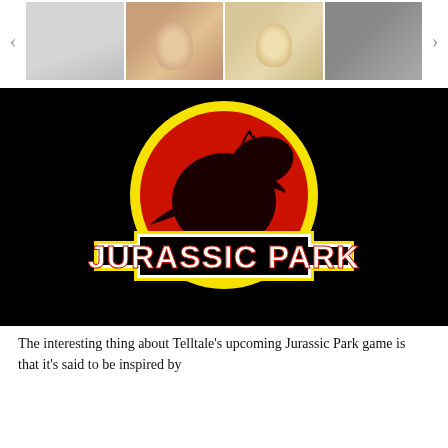[Figure (screenshot): Carousel strip with navigation arrows and thumbnail images of faces/covers on a white background]
[Figure (logo): Jurassic Park logo on black background — red circle with T-Rex silhouette, yellow border, white bold text reading JURASSIC PARK]
The interesting thing about Telltale's upcoming Jurassic Park game is that it's said to be inspired by